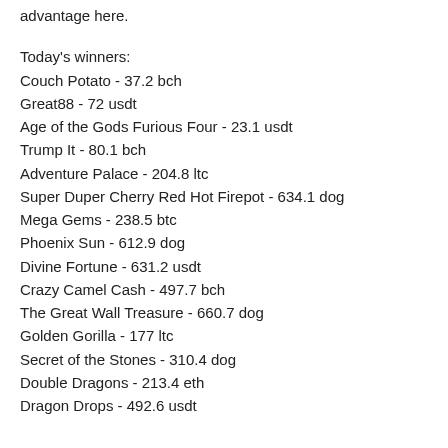advantage here.
Today's winners:
Couch Potato - 37.2 bch
Great88 - 72 usdt
Age of the Gods Furious Four - 23.1 usdt
Trump It - 80.1 bch
Adventure Palace - 204.8 ltc
Super Duper Cherry Red Hot Firepot - 634.1 dog
Mega Gems - 238.5 btc
Phoenix Sun - 612.9 dog
Divine Fortune - 631.2 usdt
Crazy Camel Cash - 497.7 bch
The Great Wall Treasure - 660.7 dog
Golden Gorilla - 177 ltc
Secret of the Stones - 310.4 dog
Double Dragons - 213.4 eth
Dragon Drops - 492.6 usdt
Play Bitcoin slots: